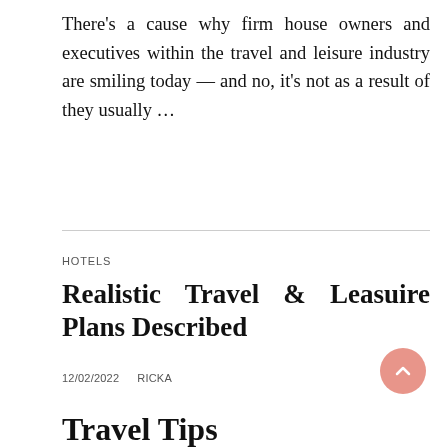There's a cause why firm house owners and executives within the travel and leisure industry are smiling today — and no, it's not as a result of they usually ...
HOTELS
Realistic Travel & Leasuire Plans Described
12/02/2022   RICKA
Travel Tips